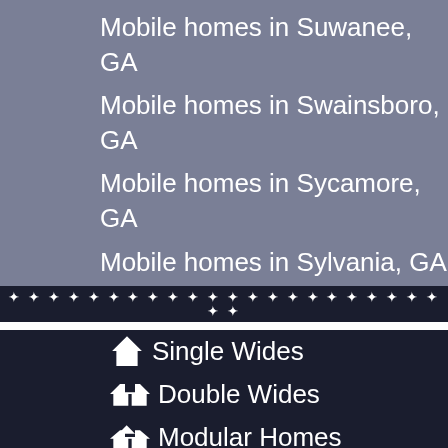Mobile homes in Suwanee, GA
Mobile homes in Swainsboro, GA
Mobile homes in Sycamore, GA
Mobile homes in Sylvania, GA
Single Wides
Double Wides
Modular Homes
Mobile Home Blog
Take a Survey
Privacy Policy
p - XML Sitemap
Homes in Indiana
Homes in Ohio
[Figure (other): Green phone button with 'Us' label]